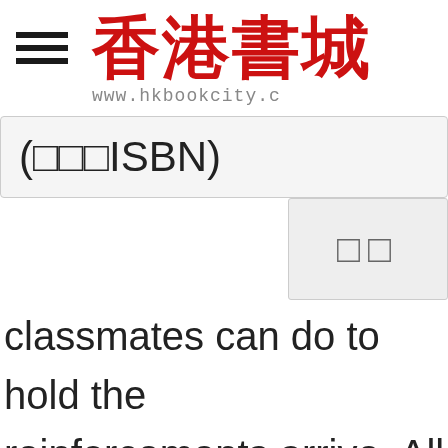香港書城 www.hkbookcity.c
(□□□ISBN)
□□
classmates can do to hold the reinforcements arrive. All Migh battle to protect the kids, but a runs out, he may be forced in